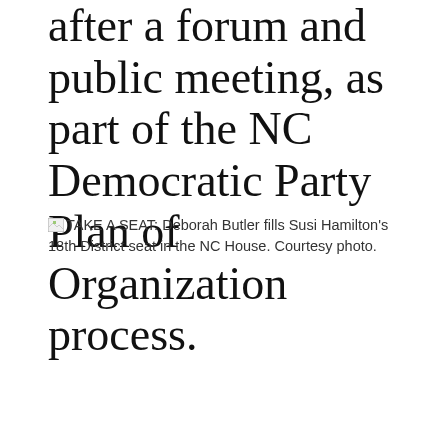after a forum and public meeting, as part of the NC Democratic Party Plan of Organization process.
TAKE A SEAT: Deborah Butler fills Susi Hamilton's 18th District seat in the NC House. Courtesy photo.